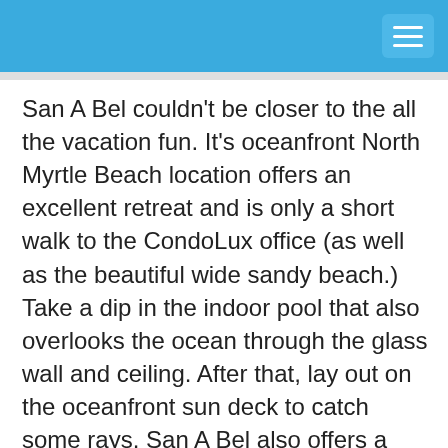San A Bel couldn't be closer to the all the vacation fun. It's oceanfront North Myrtle Beach location offers an excellent retreat and is only a short walk to the CondoLux office (as well as the beautiful wide sandy beach.) Take a dip in the indoor pool that also overlooks the ocean through the glass wall and ceiling. After that, lay out on the oceanfront sun deck to catch some rays. San A Bel also offers a fitness center that overlooks the indoor pool as well. Before bed, make sure you have a quick soak in the outdoor hot tub to relax yourself before a good night's sleep. And rest assured, San A Bel offers free covered parking.